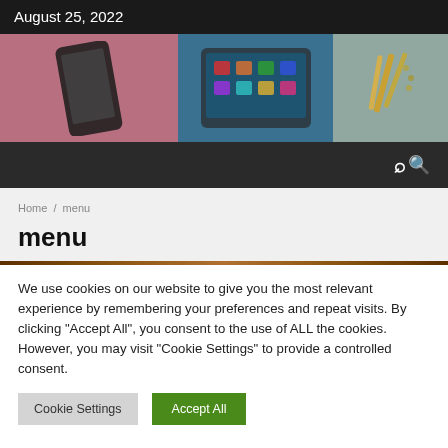August 25, 2022
[Figure (screenshot): Hero banner with three panels: a smartphone on pink background, tablet with app icons on blue background, and stationery items on teal background]
Home / menu
menu
We use cookies on our website to give you the most relevant experience by remembering your preferences and repeat visits. By clicking "Accept All", you consent to the use of ALL the cookies. However, you may visit "Cookie Settings" to provide a controlled consent.
Cookie Settings | Accept All